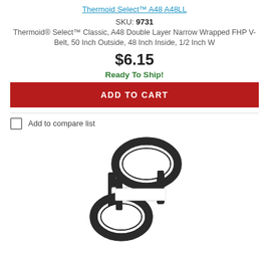Thermoid Select A48 A48LL
SKU: 9731
Thermoid® Select™ Classic, A48 Double Layer Narrow Wrapped FHP V-Belt, 50 Inch Outside, 48 Inch Inside, 1/2 Inch W
$6.15
Ready To Ship!
ADD TO CART
Add to compare list
[Figure (photo): Photo of a black double-layer FHP V-belt (A48) coiled showing two loops, with a white label band around the center, photographed on a white background.]